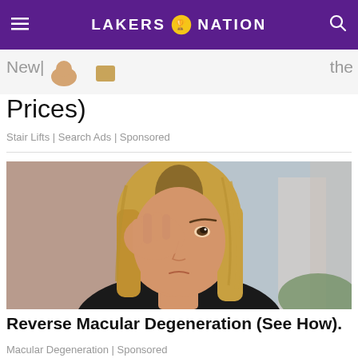LAKERS NATION
New ... Prices)
Stair Lifts | Search Ads | Sponsored
[Figure (photo): Young blonde woman touching her eye with her hand, looking distressed, outdoors with blurred background]
Reverse Macular Degeneration (See How).
Macular Degeneration | Sponsored